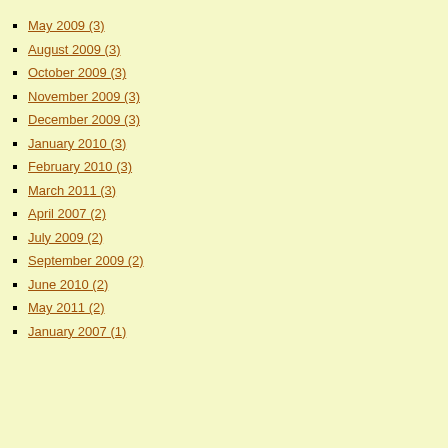May 2009 (3)
August 2009 (3)
October 2009 (3)
November 2009 (3)
December 2009 (3)
January 2010 (3)
February 2010 (3)
March 2011 (3)
April 2007 (2)
July 2009 (2)
September 2009 (2)
June 2010 (2)
May 2011 (2)
January 2007 (1)